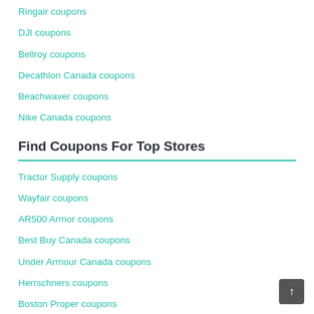Ringair coupons
DJI coupons
Bellroy coupons
Decathlon Canada coupons
Beachwaver coupons
Nike Canada coupons
Find Coupons For Top Stores
Tractor Supply coupons
Wayfair coupons
AR500 Armor coupons
Best Buy Canada coupons
Under Armour Canada coupons
Herrschners coupons
Boston Proper coupons